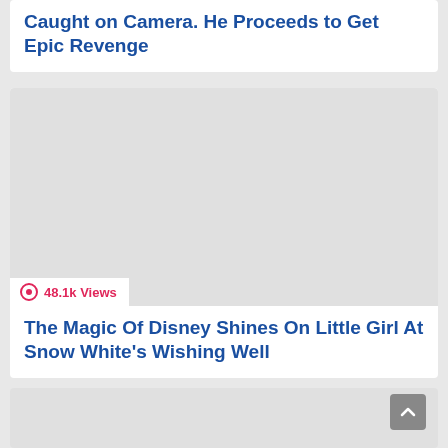Caught on Camera. He Proceeds to Get Epic Revenge
[Figure (photo): Thumbnail image placeholder (light gray) with view count badge showing 48.1k Views]
The Magic Of Disney Shines On Little Girl At Snow White's Wishing Well
[Figure (photo): Partial thumbnail image placeholder at bottom of page]